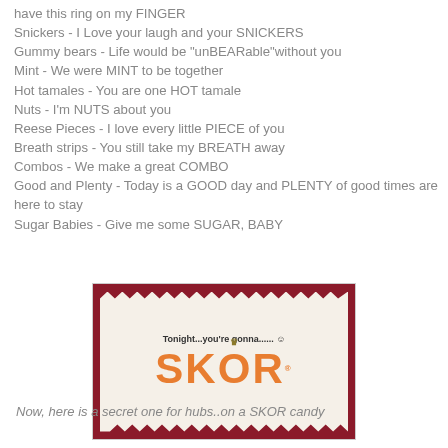have this ring on my FINGER
Snickers - I Love your laugh and your SNICKERS
Gummy bears - Life would be "unBEARable"without you
Mint - We were MINT to be together
Hot tamales - You are one HOT tamale
Nuts - I'm NUTS about you
Reese Pieces - I love every little PIECE of you
Breath strips - You still take my BREATH away
Combos - We make a great COMBO
Good and Plenty - Today is a GOOD day and PLENTY of good times are here to stay
Sugar Babies - Give me some SUGAR, BABY
[Figure (photo): Photo of a SKOR candy bar wrapper on a dark red background. The wrapper reads 'Tonight...you're gonna...... :)' at the top and displays the SKOR logo in orange text with a crown symbol in the middle of the O.]
Now, here is a secret one for hubs..on a SKOR candy